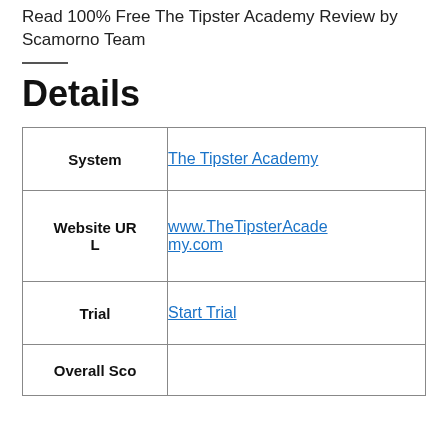Read 100% Free The Tipster Academy Review by Scamorno Team
Details
|  |  |
| --- | --- |
| System | The Tipster Academy |
| Website URL | www.TheTipsterAcademy.com |
| Trial | Start Trial |
| Overall Sco |  |